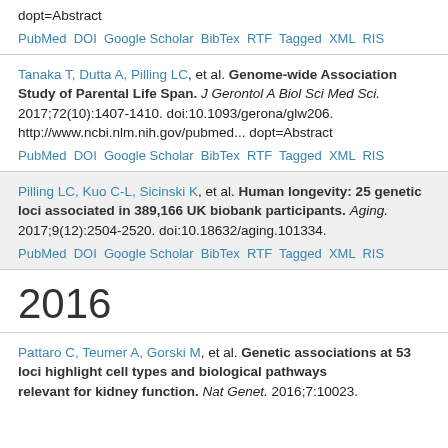dopt=Abstract
PubMed DOI Google Scholar BibTex RTF Tagged XML RIS
Tanaka T, Dutta A, Pilling LC, et al. Genome-wide Association Study of Parental Life Span. J Gerontol A Biol Sci Med Sci. 2017;72(10):1407-1410. doi:10.1093/gerona/glw206. http://www.ncbi.nlm.nih.gov/pubmed... dopt=Abstract
PubMed DOI Google Scholar BibTex RTF Tagged XML RIS
Pilling LC, Kuo C-L, Sicinski K, et al. Human longevity: 25 genetic loci associated in 389,166 UK biobank participants. Aging. 2017;9(12):2504-2520. doi:10.18632/aging.101334.
PubMed DOI Google Scholar BibTex RTF Tagged XML RIS
2016
Pattaro C, Teumer A, Gorski M, et al. Genetic associations at 53 loci highlight cell types and biological pathways relevant for kidney function. Nat Genet. 2016;7:10023.